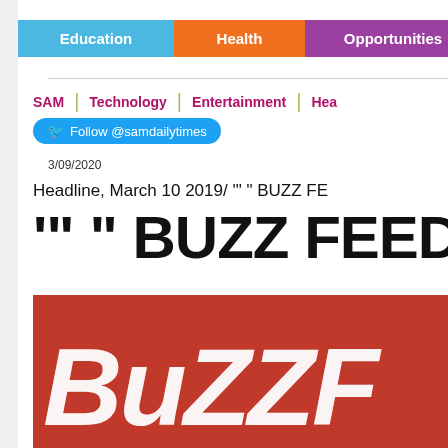Education | Health | Opportunities | En...
SAM | Technology | Entertainment | Hea...
Follow @samdailytimes
3/09/2020
Headline, March 10 2019/ '" " BUZZ FE...
'"" " BUZZ FEED
[Figure (photo): BuzzFeed logo on red background]